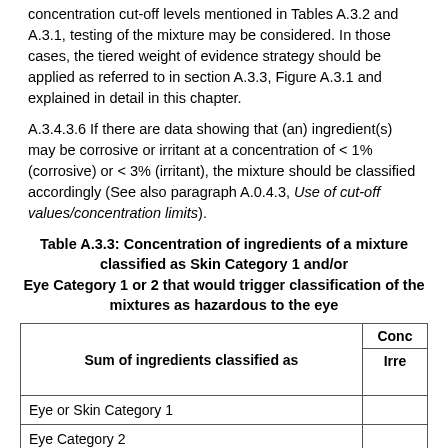concentration cut-off levels mentioned in Tables A.3.2 and A.3.1, testing of the mixture may be considered. In those cases, the tiered weight of evidence strategy should be applied as referred to in section A.3.3, Figure A.3.1 and explained in detail in this chapter.
A.3.4.3.6 If there are data showing that (an) ingredient(s) may be corrosive or irritant at a concentration of < 1% (corrosive) or < 3% (irritant), the mixture should be classified accordingly (See also paragraph A.0.4.3, Use of cut-off values/concentration limits).
Table A.3.3: Concentration of ingredients of a mixture classified as Skin Category 1 and/or Eye Category 1 or 2 that would trigger classification of the mixtures as hazardous to the eye
| Sum of ingredients classified as | Concentration (Conc / Irre...) |
| --- | --- |
| Eye or Skin Category 1 |  |
| Eye Category 2 |  |
| (10 x Eye Category 1) + Eye Category 2 |  |